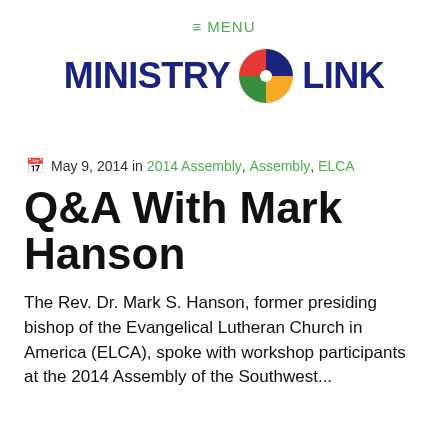≡ MENU
[Figure (logo): Ministry Link logo with colorful four-quadrant circle icon between the words MINISTRY and LINK in dark navy bold text]
May 9, 2014 in 2014 Assembly, Assembly, ELCA
Q&A With Mark Hanson
The Rev. Dr. Mark S. Hanson, former presiding bishop of the Evangelical Lutheran Church in America (ELCA), spoke with workshop participants at the 2014 Assembly of the Southwest...